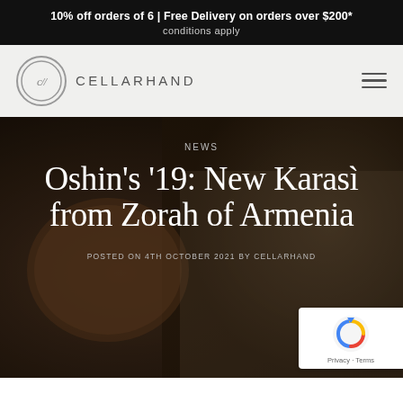10% off orders of 6 | Free Delivery on orders over $200*
conditions apply
[Figure (logo): Cellarhand logo — circle with 'c//' monogram and text CELLARHAND]
NEWS
Oshin's '19: New Karasì from Zorah of Armenia
POSTED ON 4TH OCTOBER 2021 BY CELLARHAND